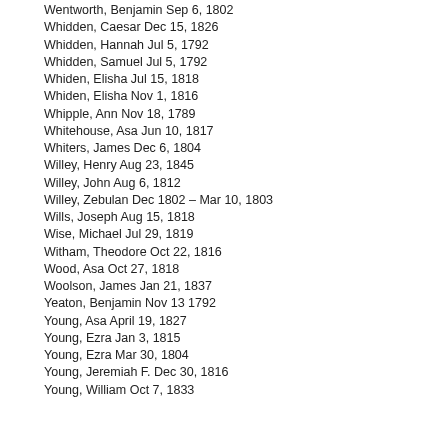Wentworth, Benjamin Sep 6, 1802
Whidden, Caesar Dec 15, 1826
Whidden, Hannah Jul 5, 1792
Whidden, Samuel Jul 5, 1792
Whiden, Elisha Jul 15, 1818
Whiden, Elisha Nov 1, 1816
Whipple, Ann Nov 18, 1789
Whitehouse, Asa Jun 10, 1817
Whiters, James Dec 6, 1804
Willey, Henry Aug 23, 1845
Willey, John Aug 6, 1812
Willey, Zebulan Dec 1802 – Mar 10, 1803
Wills, Joseph Aug 15, 1818
Wise, Michael Jul 29, 1819
Witham, Theodore Oct 22, 1816
Wood, Asa Oct 27, 1818
Woolson, James Jan 21, 1837
Yeaton, Benjamin Nov 13 1792
Young, Asa April 19, 1827
Young, Ezra Jan 3, 1815
Young, Ezra Mar 30, 1804
Young, Jeremiah F. Dec 30, 1816
Young, William Oct 7, 1833